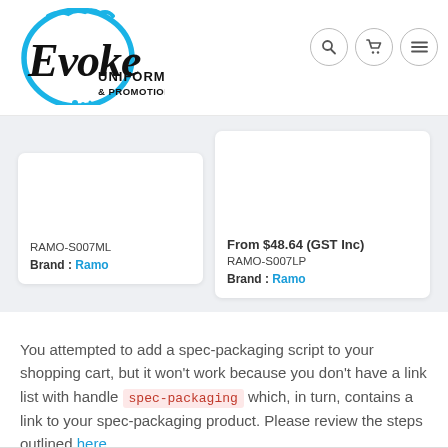[Figure (logo): Evoke Uniforms & Promotional logo — black script 'Evoke' text inside a blue circle, with 'UNIFORMS & PROMOTIONAL' in bold black caps below]
RAMO-S007ML
Brand : Ramo
From $48.64 (GST Inc)
RAMO-S007LP
Brand : Ramo
You attempted to add a spec-packaging script to your shopping cart, but it won't work because you don't have a link list with handle spec-packaging which, in turn, contains a link to your spec-packaging product. Please review the steps outlined here.